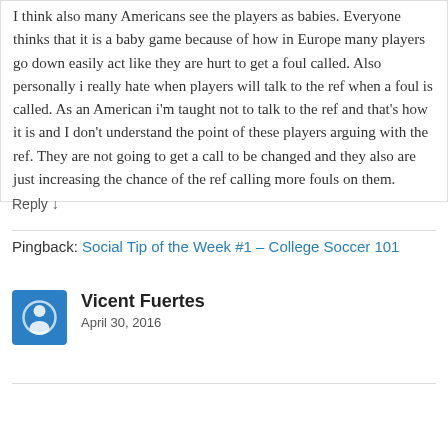I think also many Americans see the players as babies. Everyone thinks that it is a baby game because of how in Europe many players go down easily act like they are hurt to get a foul called. Also personally i really hate when players will talk to the ref when a foul is called. As an American i'm taught not to talk to the ref and that's how it is and I don't understand the point of these players arguing with the ref. They are not going to get a call to be changed and they also are just increasing the chance of the ref calling more fouls on them.
Reply ↓
Pingback: Social Tip of the Week #1 – College Soccer 101
Vicent Fuertes
April 30, 2016